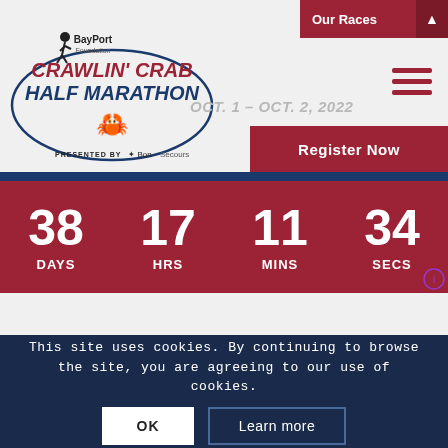[Figure (logo): BayPort Foundation Crawlin' Crab Half Marathon logo with crab graphic and oval swoosh, presented by Bon Secours]
Our Races
OCT. 1 – OCT. 2, 2022
Register Now
38 DAYS   17 HRS   11 MINS   34 SECS
This site uses cookies. By continuing to browse the site, you are agreeing to our use of cookies.
OK
Learn more